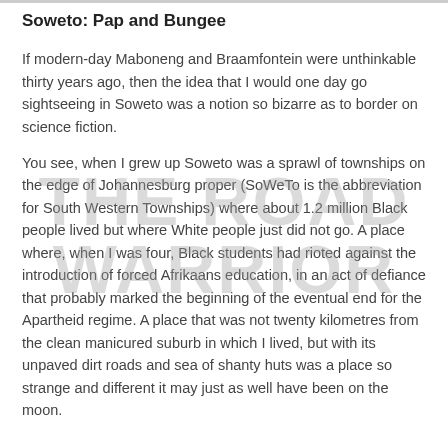Soweto: Pap and Bungee
If modern-day Maboneng and Braamfontein were unthinkable thirty years ago, then the idea that I would one day go sightseeing in Soweto was a notion so bizarre as to border on science fiction.
You see, when I grew up Soweto was a sprawl of townships on the edge of Johannesburg proper (SoWeTo is the abbreviation for South Western Townships) where about 1.2 million Black people lived but where White people just did not go. A place where, when I was four, Black students had rioted against the introduction of forced Afrikaans education, in an act of defiance that probably marked the beginning of the eventual end for the Apartheid regime. A place that was not twenty kilometres from the clean manicured suburb in which I lived, but with its unpaved dirt roads and sea of shanty huts was a place so strange and different it may just as well have been on the moon.
[Figure (other): Watermark text reading THE ROAD WARRIOR overlaid on page content]